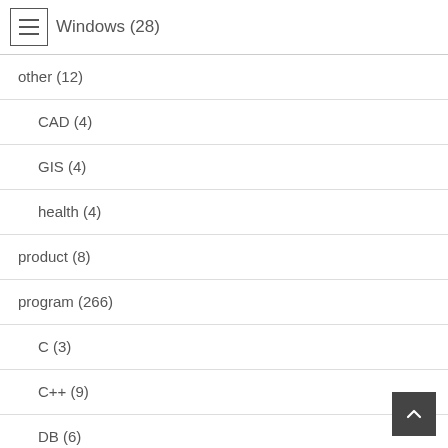Windows (28)
other (12)
CAD (4)
GIS (4)
health (4)
product (8)
program (266)
C (3)
C++ (9)
DB (6)